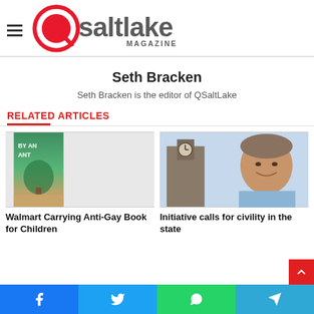QSaltLake Magazine
Seth Bracken
Seth Bracken is the editor of QSaltLake
RELATED ARTICLES
[Figure (photo): Book cover thumbnail for anti-gay children's book]
[Figure (photo): Photo of a man smiling in front of a clock tower building]
Walmart Carrying Anti-Gay Book for Children
Initiative calls for civility in the state
Facebook | Twitter | WhatsApp | Telegram social share buttons